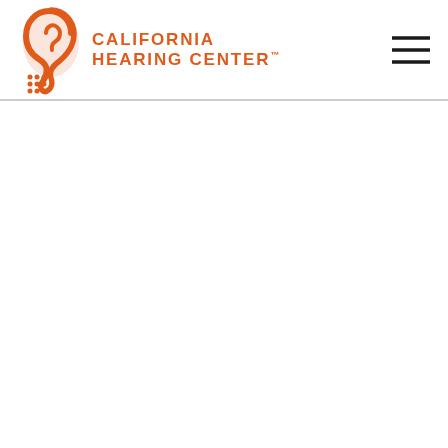[Figure (logo): California Hearing Center logo with orange ear icon and dot grid, orange text reading CALIFORNIA HEARING CENTER with trademark symbol]
[Figure (other): Hamburger menu icon — three horizontal black lines stacked vertically, positioned in top right of header]